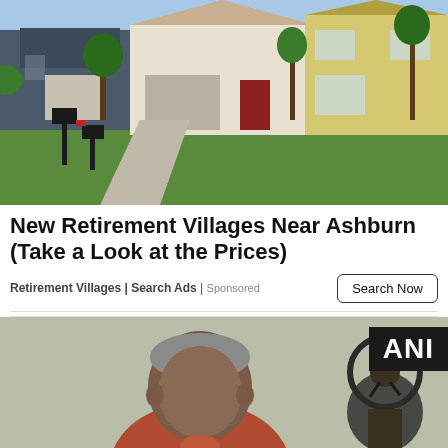[Figure (photo): Suburban neighborhood with green lawns and single-family homes, mailboxes in foreground]
New Retirement Villages Near Ashburn (Take a Look at the Prices)
Retirement Villages | Search Ads | Sponsored
[Figure (photo): Elderly man in red shirt being interviewed, with a Nataraja (dancing Shiva) sculpture visible behind him; ANI news logo in upper right corner]